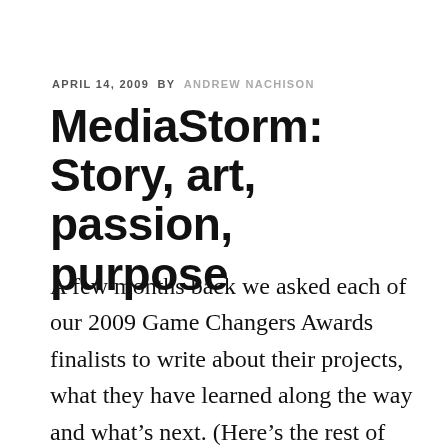APRIL 14, 2009  BY  ANDREW NACHISON
MediaStorm: Story, art, passion, purpose
A few months back we asked each of our 2009 Game Changers Awards finalists to write about their projects, what they have learned along the way and what's next. (Here's the rest of the series). Somehow, amidst the flurry of conference preparations, this one